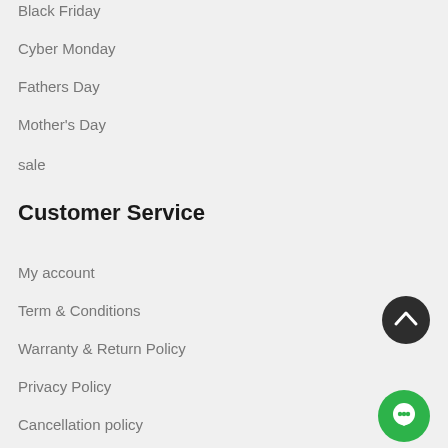Black Friday
Cyber Monday
Fathers Day
Mother's Day
sale
Customer Service
My account
Term & Conditions
Warranty & Return Policy
Privacy Policy
Cancellation policy